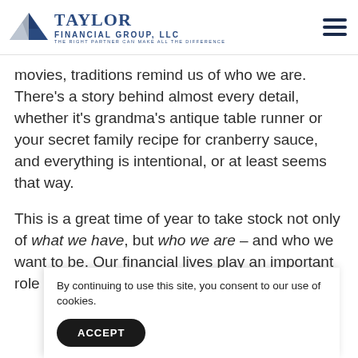Taylor Financial Group, LLC — The Right Partner Can Make All The Difference
movies, traditions remind us of who we are. There's a story behind almost every detail, whether it's grandma's antique table runner or your secret family recipe for cranberry sauce, and everything is intentional, or at least seems that way.
This is a great time of year to take stock not only of what we have, but who we are – and who we want to be. Our financial lives play an important role in this re[flection…]
By continuing to use this site, you consent to our use of cookies.